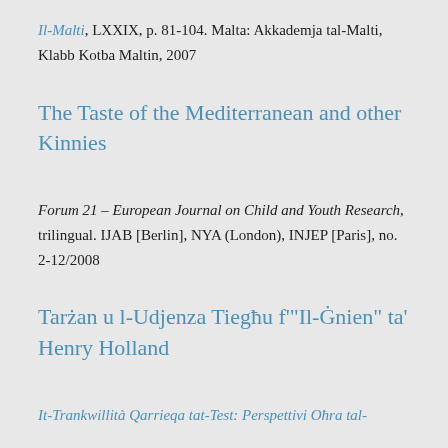Il-Malti, LXXIX, p. 81-104. Malta: Akkademja tal-Malti, Klabb Kotba Maltin, 2007
The Taste of the Mediterranean and other Kinnies
Forum 21 – European Journal on Child and Youth Research, trilingual. IJAB [Berlin], NYA (London), INJEP [Paris], no. 2-12/2008
Tarżan u l-Udjenza Tiegħu f'"Il-Ġnien" ta' Henry Holland
It-Trankwillità Qarrieqa tat-Test: Perspettivi Oħra tal-